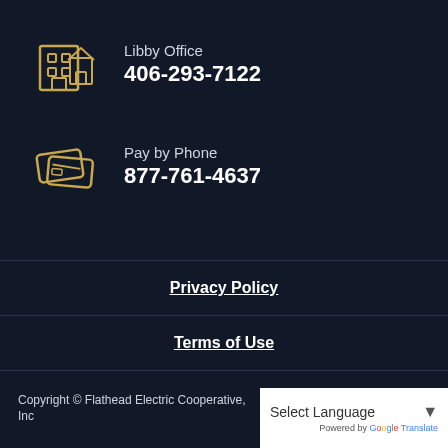Libby Office
406-293-7122
Pay by Phone
877-761-4637
Privacy Policy
Terms of Use
Accessibility Policy
Copyright © Flathead Electric Cooperative, Inc
Select Language
Powered by Google Translate